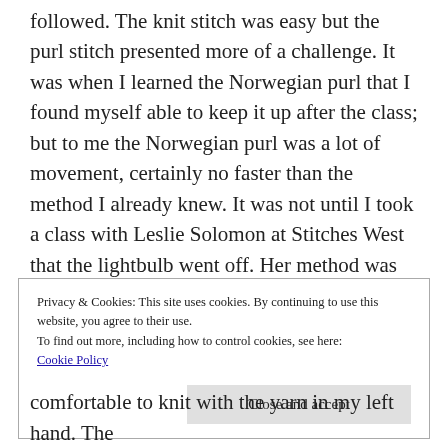followed. The knit stitch was easy but the purl stitch presented more of a challenge. It was when I learned the Norwegian purl that I found myself able to keep it up after the class; but to me the Norwegian purl was a lot of movement, certainly no faster than the method I already knew. It was not until I took a class with Leslie Solomon at Stitches West that the lightbulb went off. Her method was to rotate the left hand down, bringing the tensioned yarn over the needle and making it easier to grab.
Privacy & Cookies: This site uses cookies. By continuing to use this website, you agree to their use.
To find out more, including how to control cookies, see here:
Cookie Policy
Close and accept
comfortable to knit with the yarn in my left hand. The